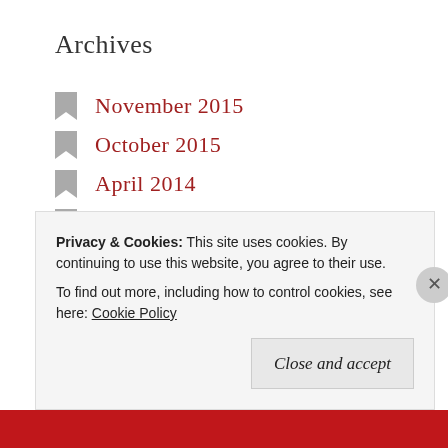Archives
November 2015
October 2015
April 2014
January 2014
April 2013
March 2013
February 2013
January 2013
December 2012
November 2012
Privacy & Cookies: This site uses cookies. By continuing to use this website, you agree to their use. To find out more, including how to control cookies, see here: Cookie Policy
Close and accept